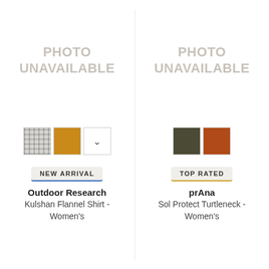[Figure (photo): Photo unavailable placeholder for Outdoor Research Kulshan Flannel Shirt - Women's (left column)]
[Figure (photo): Photo unavailable placeholder for prAna Sol Protect Turtleneck - Women's (right column)]
NEW ARRIVAL
Outdoor Research
Kulshan Flannel Shirt - Women's
TOP RATED
prAna
Sol Protect Turtleneck - Women's